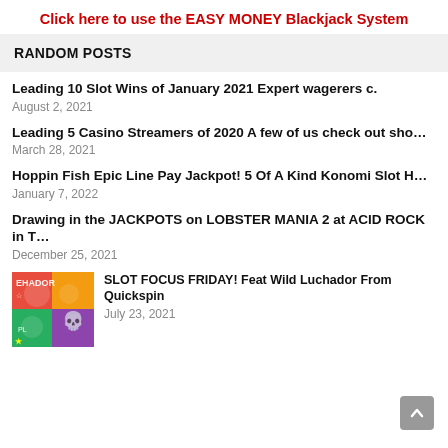Click here to use the EASY MONEY Blackjack System
RANDOM POSTS
Leading 10 Slot Wins of January 2021 Expert wagerers c.
August 2, 2021
Leading 5 Casino Streamers of 2020 A few of us check out sho…
March 28, 2021
Hoppin Fish Epic Line Pay Jackpot! 5 Of A Kind Konomi Slot H…
January 7, 2022
Drawing in the JACKPOTS on LOBSTER MANIA 2 at ACID ROCK in T…
December 25, 2021
[Figure (illustration): Thumbnail image for Wild Luchador slot game from Quickspin, featuring colorful Mexican Day of the Dead themed characters]
SLOT FOCUS FRIDAY! Feat Wild Luchador From Quickspin
July 23, 2021